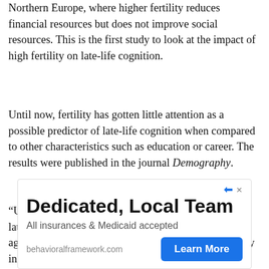Northern Europe, where higher fertility reduces financial resources but does not improve social resources. This is the first study to look at the impact of high fertility on late-life cognition.
Until now, fertility has gotten little attention as a possible predictor of late-life cognition when compared to other characteristics such as education or career. The results were published in the journal Demography.
“Understanding the factors that contribute to optimal late-life cognition is essential for ensuring successful aging at the individual and societal levels—particularly in Europe, where family sizes have shrunk and populations are aging rapidly,” said Vegard Skirbekk, Ph.D., professor of population and family health at
[Figure (other): Advertisement banner: 'Dedicated, Local Team' - All insurances & Medicaid accepted - behavioralframework.com - Learn More button]